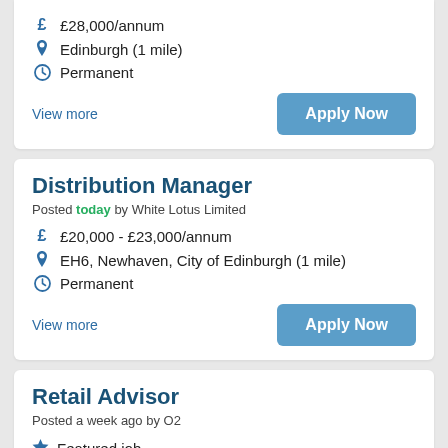£28,000/annum | Edinburgh (1 mile) | Permanent | View more | Apply Now
Distribution Manager
Posted today by White Lotus Limited
£20,000 - £23,000/annum
EH6, Newhaven, City of Edinburgh (1 mile)
Permanent
View more
Apply Now
Retail Advisor
Posted a week ago by O2
Featured job